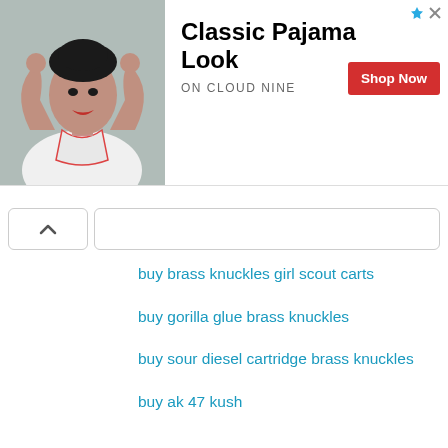[Figure (photo): Advertisement banner showing a woman in white pajamas with arms raised, promoting 'Classic Pajama Look' by ON CLOUD NINE with a red Shop Now button]
buy brass knuckles girl scout carts
buy gorilla glue brass knuckles
buy sour diesel cartridge brass knuckles
buy ak 47 kush
buy brass knuckles banana og
buy banana og strain
buy bart carts online
Reply